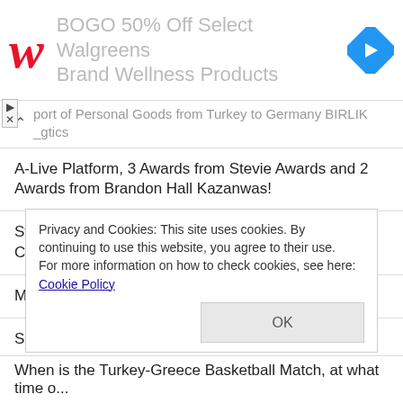[Figure (screenshot): Walgreens ad banner: red cursive W logo, text 'BOGO 50% Off Select Walgreens Brand Wellness Products' in gray, blue navigation diamond icon on right]
port of Personal Goods from Turkey to Germany BIRLIK _gtics
A-Live Platform, 3 Awards from Stevie Awards and 2 Awards from Brandon Hall Kazanwas!
Statement from Ankara Metropolitan Regarding the Crack Occurring in the Walls of Ankara Castle
Met with Motul Distributors on a Travel to Germany
Should You Cut Carbs While Dieting?
Privacy and Cookies: This site uses cookies. By continuing to use this website, you agree to their use.
For more information on how to check cookies, see here: Cookie Policy
When is the Turkey-Greece Basketball Match, at what time o...